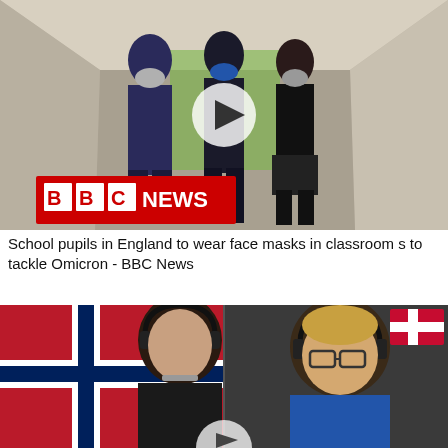[Figure (photo): School pupils in school uniforms and face masks walking down a corridor. BBC NEWS logo overlay in bottom left. Play button overlay in center.]
School pupils in England to wear face masks in classrooms to tackle Omicron - BBC News
[Figure (photo): Split screen video showing two people wearing headsets. Left person in front of Norwegian flag background, right person in front of dark background with Danish flag in upper right corner. Play button partially visible at bottom center.]